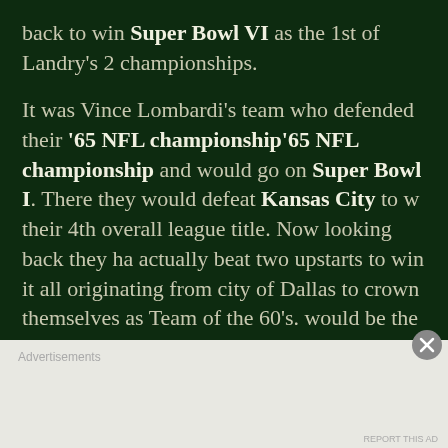back to win Super Bowl VI as the 1st of Landry's 2 championships.

It was Vince Lombardi's team who defended their '65 NFL championship'65 NFL championship and would go on Super Bowl I. There they would defeat Kansas City to win their 4th overall league title. Now looking back they had actually beat two upstarts to win it all originating from city of Dallas to crown themselves as Team of the 60's. would be the last with the Hall of Fame backfield duo of Taylor and Paul Hornung. It was quiet Bart Starr who elevated his play with a record 4 TD passes in he win in Dallas. Out in L.A. he was even better carving up the Chiefs to win the 1st MVP of the very 1st Super Bowl
Advertisements